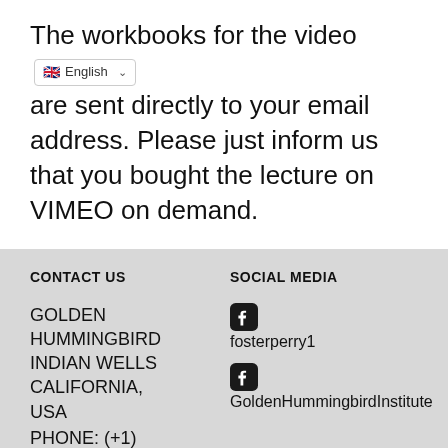The workbooks for the video are sent directly to your email address. Please just inform us that you bought the lecture on VIMEO on demand.
CONTACT US | SOCIAL MEDIA | GOLDEN HUMMINGBIRD INDIAN WELLS CALIFORNIA, USA | PHONE: (+1) | fosterperry1 | GoldenHummingbirdInstitute